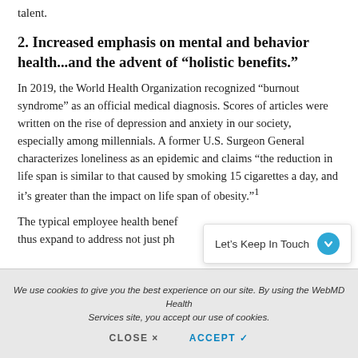talent.
2. Increased emphasis on mental and behavior health...and the advent of “holistic benefits.”
In 2019, the World Health Organization recognized “burnout syndrome” as an official medical diagnosis. Scores of articles were written on the rise of depression and anxiety in our society, especially among millennials. A former U.S. Surgeon General characterizes loneliness as an epidemic and claims “the reduction in life span is similar to that caused by smoking 15 cigarettes a day, and it’s greater than the impact on life span of obesity.”¹
The typical employee health bene… thus expand to address not just ph…
[Figure (screenshot): Popup: Let's Keep In Touch with blue circle chevron icon]
We use cookies to give you the best experience on our site. By using the WebMD Health Services site, you accept our use of cookies. CLOSE ×  ACCEPT ✓